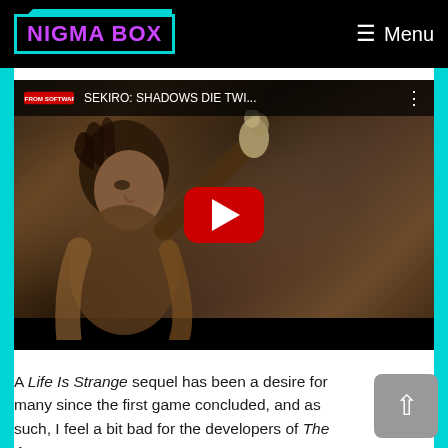NIGMA BOX — Menu
[Figure (screenshot): YouTube embed showing Sekiro: Shadows Die Twice game footage with a play button overlay. Title bar reads 'SEKIRO: SHADOWS DIE TWI...' with FromSoftware logo. Dark fantasy game character visible in background.]
A Life Is Strange sequel has been a desire for many since the first game concluded, and as such, I feel a bit bad for the developers of The Awesome